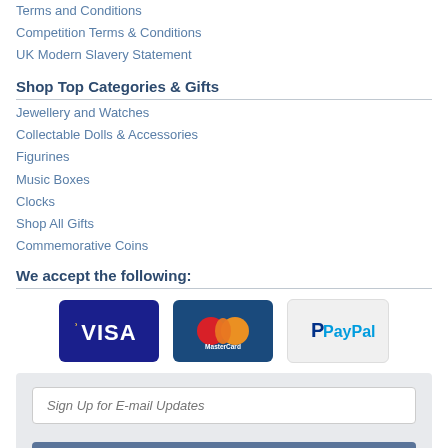Terms and Conditions
Competition Terms & Conditions
UK Modern Slavery Statement
Shop Top Categories & Gifts
Jewellery and Watches
Collectable Dolls & Accessories
Figurines
Music Boxes
Clocks
Shop All Gifts
Commemorative Coins
We accept the following:
[Figure (logo): Visa, MasterCard, and PayPal payment logos]
Sign Up for E-mail Updates
Subscribe